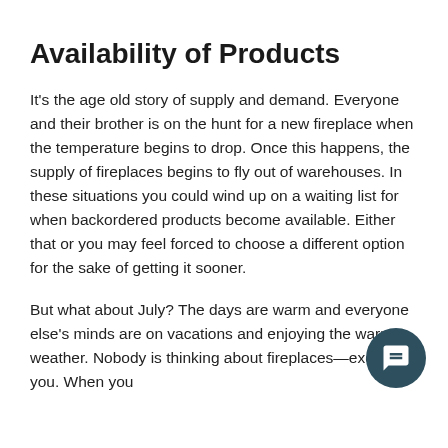Availability of Products
It’s the age old story of supply and demand. Everyone and their brother is on the hunt for a new fireplace when the temperature begins to drop. Once this happens, the supply of fireplaces begins to fly out of warehouses. In these situations you could wind up on a waiting list for when backordered products become available. Either that or you may feel forced to choose a different option for the sake of getting it sooner.
But what about July? The days are warm and everyone else’s minds are on vacations and enjoying the warm weather. Nobody is thinking about fireplaces—except for you. When you